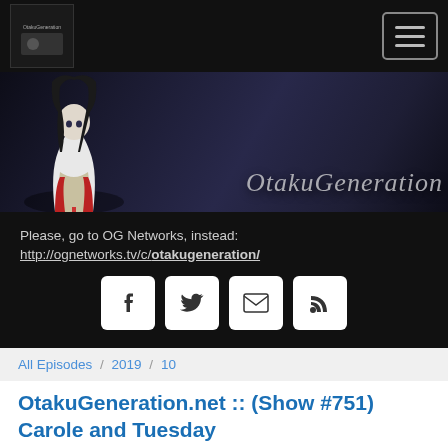OtakuGeneration navigation bar with logo and hamburger menu
[Figure (illustration): Website banner with anime girl character on left and 'OtakuGeneration' stylized text on dark gradient background]
Please, go to OG Networks, instead: http://ognetworks.tv/c/otakugeneration/
[Figure (infographic): Social media icon buttons: Facebook, Twitter, Email, RSS]
All Episodes / 2019 / 10
OtakuGeneration.net :: (Show #751) Carole and Tuesday